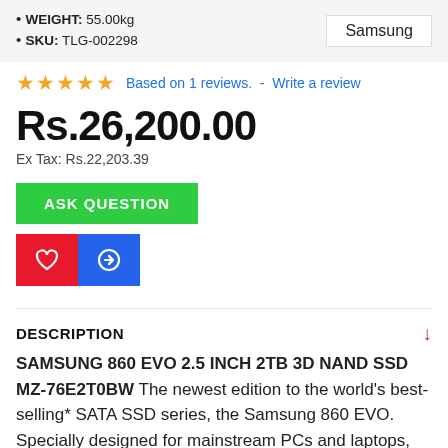WEIGHT: 55.00kg
SKU: TLG-002298
Samsung
★★★★★ Based on 1 reviews.  -  Write a review
Rs.26,200.00
Ex Tax: Rs.22,203.39
ASK QUESTION
[Figure (illustration): Heart (wishlist) icon button in red and Compare icon button in blue]
DESCRIPTION
SAMSUNG 860 EVO 2.5 INCH 2TB 3D NAND SSD MZ-76E2T0BW The newest edition to the world's best-selling* SATA SSD series, the Samsung 860 EVO. Specially designed for mainstream PCs and laptops, with the latest V-NAND and a robust